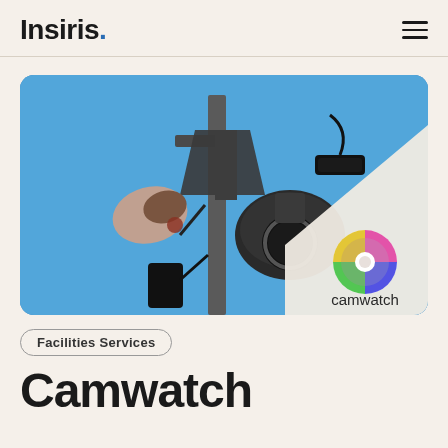Insiris.
[Figure (photo): Security camera and speaker mounted on a pole against a blue sky, with a camwatch logo in the bottom right corner on a light beige triangular overlay.]
Facilities Services
Camwatch